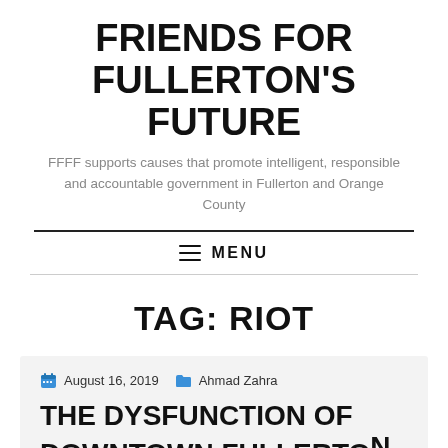FRIENDS FOR FULLERTON'S FUTURE
FFFF supports causes that promote intelligent, responsible and accountable government in Fullerton and Orange County
MENU
TAG: RIOT
August 16, 2019   Ahmad Zahra
THE DYSFUNCTION OF DOWNTOWN FULLERTON